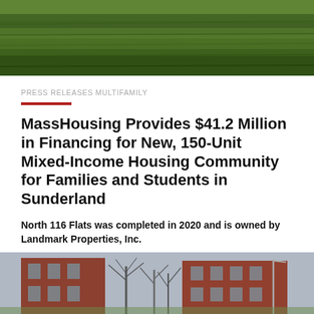[Figure (photo): Aerial or close-up photo of green grass field, top portion of page]
PRESS RELEASES MULTIFAMILY
MassHousing Provides $41.2 Million in Financing for New, 150-Unit Mixed-Income Housing Community for Families and Students in Sunderland
North 116 Flats was completed in 2020 and is owned by Landmark Properties, Inc.
MAY 12, 2022
The development is located three miles north of UMass Amherst.
[Figure (photo): Photo of brick apartment buildings with bare trees in winter, bottom portion of page]